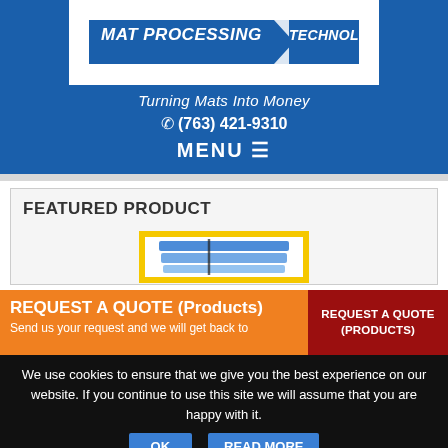[Figure (logo): Mat Processing Technology company logo — white background with dark blue text 'MAT PROCESSING TECHNOLOGY' and a blue diagonal swoosh/chevron graphic]
Turning Mats Into Money
☎ (763) 421-9310
MENU ≡
FEATURED PRODUCT
[Figure (photo): Product image partially visible — appears to be stacked blue mats with a yellow border frame]
REQUEST A QUOTE (Products)
Send us your request and we will get back to
REQUEST A QUOTE (PRODUCTS)
We use cookies to ensure that we give you the best experience on our website. If you continue to use this site we will assume that you are happy with it.
OK
READ MORE